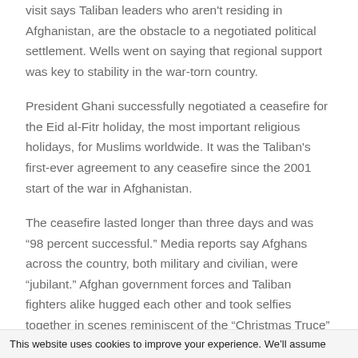visit says Taliban leaders who aren't residing in Afghanistan, are the obstacle to a negotiated political settlement. Wells went on saying that regional support was key to stability in the war-torn country.
President Ghani successfully negotiated a ceasefire for the Eid al-Fitr holiday, the most important religious holidays, for Muslims worldwide. It was the Taliban's first-ever agreement to any ceasefire since the 2001 start of the war in Afghanistan.
The ceasefire lasted longer than three days and was “98 percent successful.” Media reports say Afghans across the country, both military and civilian, were “jubilant.” Afghan government forces and Taliban fighters alike hugged each other and took selfies together in scenes reminiscent of the “Christmas Truce” of World War I, during which German and British troops spontaneously
This website uses cookies to improve your experience. We’ll assume